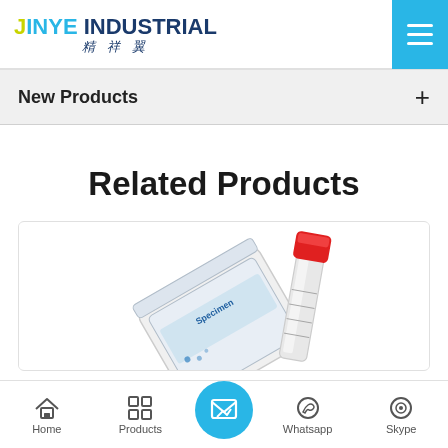JINYE INDUSTRIAL 精祥翼
New Products +
Related Products
[Figure (photo): Product image showing medical/laboratory specimen collection items: a flat packaging bag with blue label text 'Specimen' and a red-capped test tube/vial, partially visible at the bottom of the card.]
Home | Products | [Contact/Inquiry] | Whatsapp | Skype